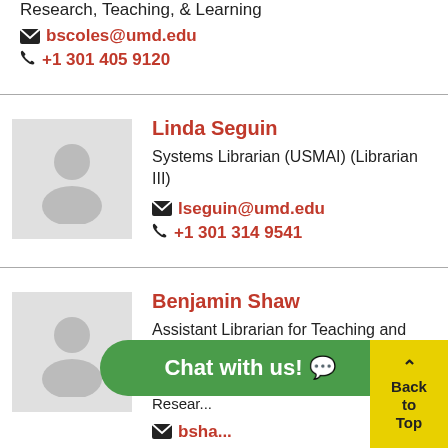Research, Teaching, & Learning
bscoles@umd.edu
+1 301 405 9120
Linda Seguin
Systems Librarian (USMAI) (Librarian III)
lseguin@umd.edu
+1 301 314 9541
Benjamin Shaw
Assistant Librarian for Teaching and Learning
Teaching and Learning Services / Research...
bsha...
Chat with us!
Back to Top